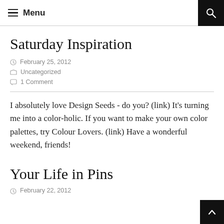Menu
Saturday Inspiration
February 25, 2012
Uncategorized
1 Comment
I absolutely love Design Seeds - do you? (link) It's turning me into a color-holic. If you want to make your own color palettes, try Colour Lovers. (link) Have a wonderful weekend, friends!
Your Life in Pins
February 22, 2012